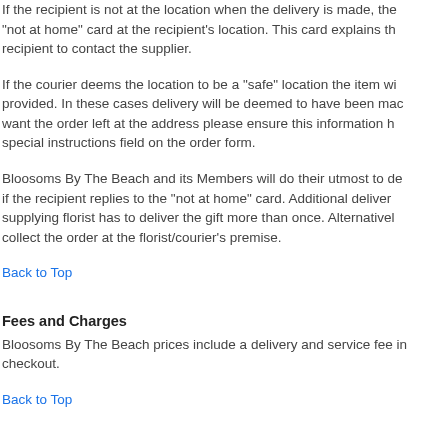If the recipient is not at the location when the delivery is made, the "not at home" card at the recipient's location. This card explains th recipient to contact the supplier.
If the courier deems the location to be a "safe" location the item wi provided. In these cases delivery will be deemed to have been mac want the order left at the address please ensure this information h special instructions field on the order form.
Bloosoms By The Beach and its Members will do their utmost to de if the recipient replies to the "not at home" card. Additional deliver supplying florist has to deliver the gift more than once. Alternativel collect the order at the florist/courier's premise.
Back to Top
Fees and Charges
Bloosoms By The Beach prices include a delivery and service fee in checkout.
Back to Top